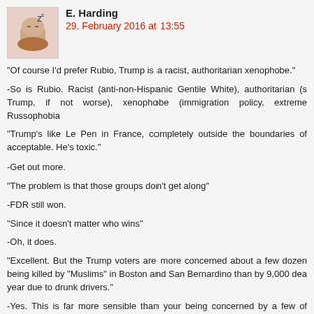E. Harding
29. February 2016 at 13:55
“Of course I’d prefer Rubio, Trump is a racist, authoritarian xenophobe.”
-So is Rubio. Racist (anti-non-Hispanic Gentile White), authoritarian (s Trump, if not worse), xenophobe (immigration policy, extreme Russophobia
“Trump’s like Le Pen in France, completely outside the boundaries of acceptable. He’s toxic.”
-Get out more.
“The problem is that those groups don’t get along”
-FDR still won.
“Since it doesn’t matter who wins”
-Oh, it does.
“Excellent. But the Trump voters are more concerned about a few dozen being killed by “Muslims” in Boston and San Bernardino than by 9,000 dea year due to drunk drivers.”
-Yes. This is far more sensible than your being concerned by a few of vulgarities than Rubio’s taking crazy pills. And drunks are not more likely about the deaths of their families than the deaths of their victims. Terror Muslim terrorists are the bigger threat due to the fact they have an